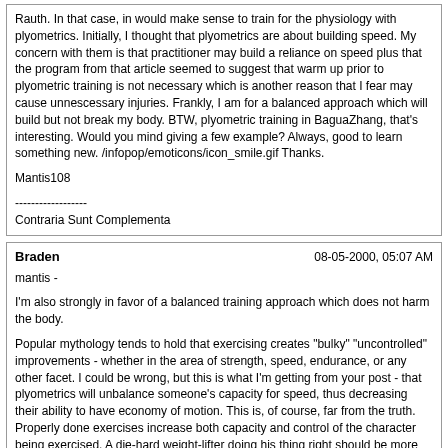Rauth. In that case, in would make sense to train for the physiology with plyometrics. Initially, I thought that plyometrics are about building speed. My concern with them is that practitioner may build a reliance on speed plus that the program from that article seemed to suggest that warm up prior to plyometric training is not necessary which is another reason that I fear may cause unnescessary injuries. Frankly, I am for a balanced approach which will build but not break my body. BTW, plyometric training in BaguaZhang, that's interesting. Would you mind giving a few example? Always, good to learn something new. /infopop/emoticons/icon_smile.gif Thanks.

Mantis108

------------------
Contraria Sunt Complementa
Braden
08-05-2000, 05:07 AM

mantis -

I'm also strongly in favor of a balanced training approach which does not harm the body.

Popular mythology tends to hold that exercising creates "bulky" "uncontrolled" improvements - whether in the area of strength, speed, endurance, or any other facet. I could be wrong, but this is what I'm getting from your post - that plyometrics will unbalance someone's capacity for speed, thus decreasing their ability to have economy of motion. This is, of course, far from the truth. Properly done exercises increase both capacity and control of the character being exercised. A die-hard weight-lifter doing his thing right should be more flexible than the average man, for example, not the muscle-bound stereotype that seems to occupy the public stereotypes.

Of course, we can't really fault anyone for believing these stereotypes, because the exercise community (like any other community, I would suggest) has largely been irresponsible and just generally unhealthy in how it does things. In other words, most people in the community simply do things wrong. The grossest example of this is body-building competitions. The average